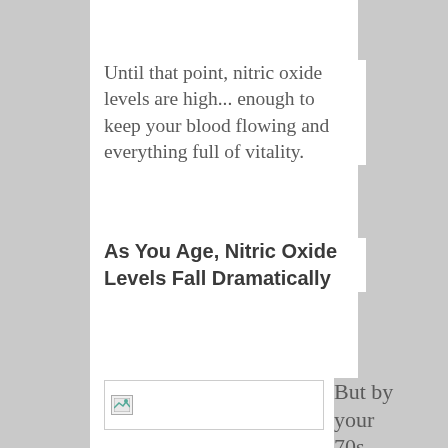Until that point, nitric oxide levels are high... enough to keep your blood flowing and everything full of vitality.
As You Age, Nitric Oxide Levels Fall Dramatically
[Figure (photo): Broken/missing image placeholder]
But by your 70s, you